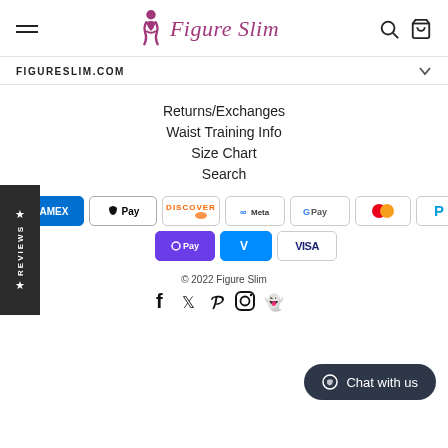Figure Slim — navigation header with hamburger menu, logo, search and cart icons
FIGURESLIM.COM
Returns/Exchanges
Waist Training Info
Size Chart
Search
[Figure (logo): Reviews tab on left side with stars and vertical REVIEWS text on dark background]
[Figure (other): Payment method icons: Amex, Apple Pay, Discover, Meta, Google Pay, Mastercard, PayPal, OPay, Venmo, Visa]
© 2022 Figure Slim
[Figure (other): Social media icons: Facebook, Twitter, Pinterest, Instagram, Snapchat]
Chat with us